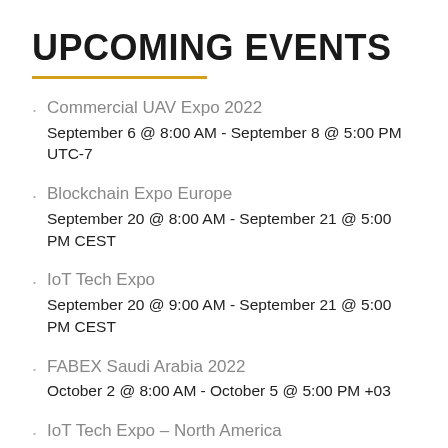UPCOMING EVENTS
Commercial UAV Expo 2022
September 6 @ 8:00 AM - September 8 @ 5:00 PM UTC-7
Blockchain Expo Europe
September 20 @ 8:00 AM - September 21 @ 5:00 PM CEST
IoT Tech Expo
September 20 @ 9:00 AM - September 21 @ 5:00 PM CEST
FABEX Saudi Arabia 2022
October 2 @ 8:00 AM - October 5 @ 5:00 PM +03
IoT Tech Expo – North America